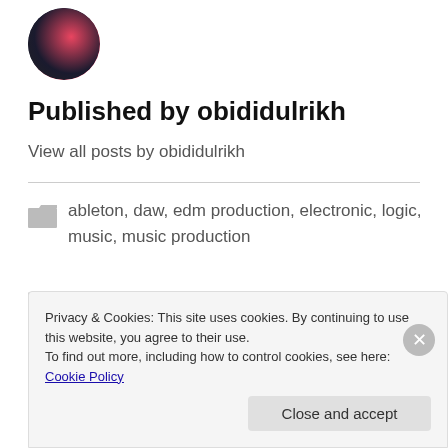[Figure (photo): Circular avatar image with dark background and pink/magenta colors]
Published by obididulrikh
View all posts by obididulrikh
ableton, daw, edm production, electronic, logic, music, music production
ableton, daw, edm production, electronic, logic, music, music production
Privacy & Cookies: This site uses cookies. By continuing to use this website, you agree to their use.
To find out more, including how to control cookies, see here: Cookie Policy
Close and accept